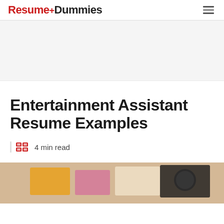Resume+Dummies
[Figure (photo): Advertisement/banner area placeholder, light gray background]
Entertainment Assistant Resume Examples
4 min read
[Figure (photo): Bottom photo strip showing desk items with pencils, papers, and graduation cap on a wooden surface]